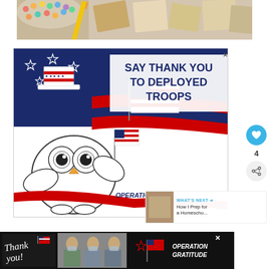[Figure (photo): Art supplies photo — watercolor paints, notebooks, pencils on a table, top-down view]
[Figure (illustration): Operation Gratitude advertisement: cartoon owl wearing Uncle Sam hat holding American flag, red/white/blue stripes background, text 'SAY THANK YOU TO DEPLOYED TROOPS', Operation Gratitude logo]
[Figure (photo): Operation Gratitude bottom banner ad: 'Thank you!' script text, photo of people with masks holding items, Operation Gratitude logo, on dark background]